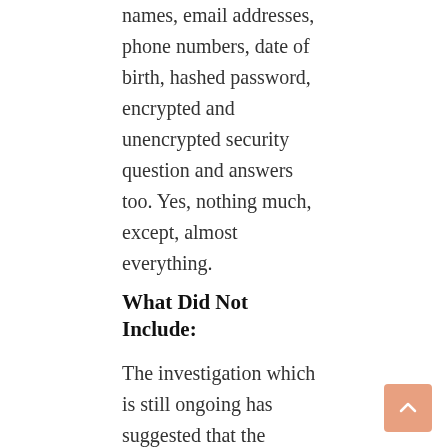names, email addresses, phone numbers, date of birth, hashed password, encrypted and unencrypted security question and answers too. Yes, nothing much, except, almost everything.
What Did Not Include:
The investigation which is still ongoing has suggested that the swiped information did not include payment card data, unprotected password, bank account information as the payment card data and bank account information are not stored in the system.
The Worst Part:
The danger is not going to stop at only Yahoo hack, for those users who use the same password on the website is going to affect more. According to Shuman Ghosemajumdar, Google's former click-fraud czar and CTO of Shape Security, they have noticed only